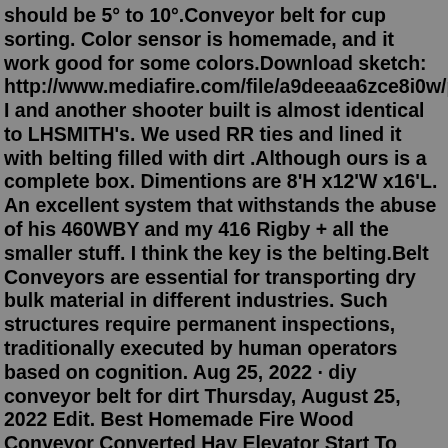should be 5° to 10°.Conveyor belt for cup sorting. Color sensor is homemade, and it work good for some colors.Download sketch: http://www.mediafire.com/file/a9deeaa6zce8i0w/pokr...setup I and another shooter built is almost identical to LHSMITH's. We used RR ties and lined it with belting filled with dirt .Although ours is a complete box. Dimentions are 8'H x12'W x16'L. An excellent system that withstands the abuse of his 460WBY and my 416 Rigby + all the smaller stuff. I think the key is the belting.Belt Conveyors are essential for transporting dry bulk material in different industries. Such structures require permanent inspections, traditionally executed by human operators based on cognition. Aug 25, 2022 · diy conveyor belt for dirt Thursday, August 25, 2022 Edit. Best Homemade Fire Wood Conveyor Converted Hay Elevator Start To Finish V1 Firewood Outdoor Firewood Rack ... Jan 17, 2005 · Tractor. Kubota B7510HSD. You could use an extension ladder for the frame. Build a couple of rectangular boxes to join 2 sections of ladder together